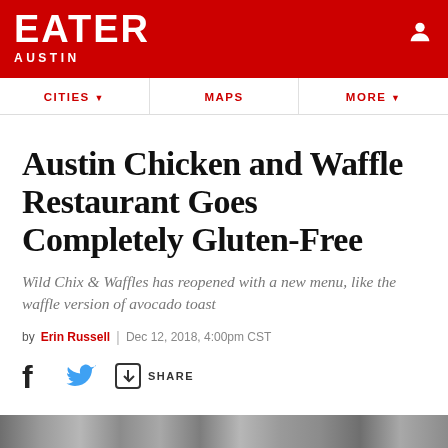EATER AUSTIN
CITIES  MAPS  MORE
Austin Chicken and Waffle Restaurant Goes Completely Gluten-Free
Wild Chix & Waffles has reopened with a new menu, like the waffle version of avocado toast
by Erin Russell | Dec 12, 2018, 4:00pm CST
[Figure (other): Social share bar with Facebook, Twitter, and Share icons]
[Figure (photo): Bottom strip showing a partial food/restaurant photo]